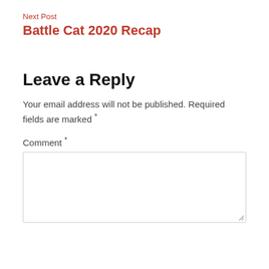Next Post
Battle Cat 2020 Recap
Leave a Reply
Your email address will not be published. Required fields are marked *
Comment *